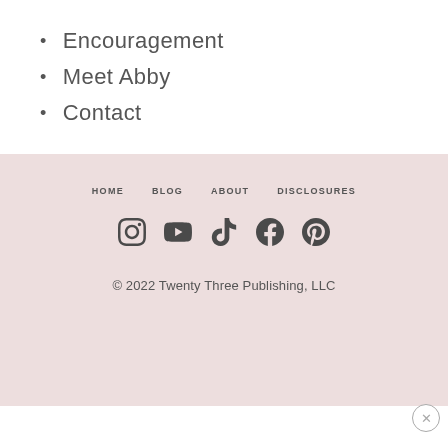Encouragement
Meet Abby
Contact
HOME  BLOG  ABOUT  DISCLOSURES
[Figure (infographic): Social media icons: Instagram, YouTube, TikTok, Facebook, Pinterest]
© 2022 Twenty Three Publishing, LLC